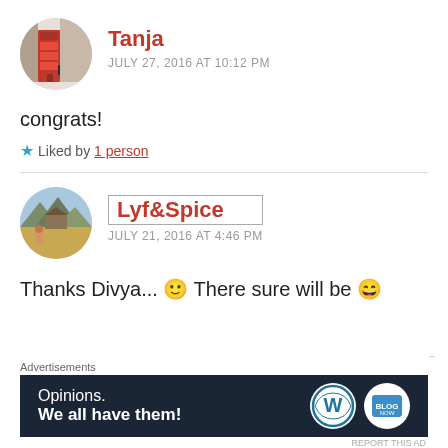[Figure (photo): Circular avatar photo of Tanja showing a person standing near a red British phone box]
Tanja
JULY 27, 2016 AT 10:12 PM
congrats!
★ Liked by 1 person
[Figure (photo): Circular avatar photo for Lyf&Spice showing a scenic landscape]
Lyf&Spice
JULY 21, 2016 AT 4:46 PM
Thanks Divya... 🙂 There sure will be 😀
Advertisements
[Figure (screenshot): WordPress advertisement banner: Opinions. We all have them!]